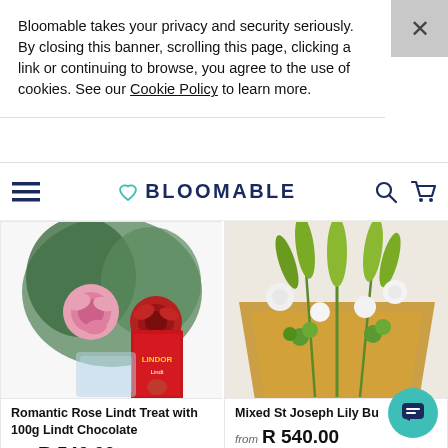Bloomable takes your privacy and security seriously. By closing this banner, scrolling this page, clicking a link or continuing to browse, you agree to the use of cookies. See our Cookie Policy to learn more.
[Figure (logo): Bloomable logo with heart icon and navigation bar including hamburger menu, search icon, and cart icon]
[Figure (photo): Romantic Rose Lindt Treat with 100g Lindt Chocolate — bouquet of pink and red roses with a red Lindt chocolate box]
Romantic Rose Lindt Treat with 100g Lindt Chocolate
from R 540.00
[Figure (photo): Mixed St Joseph Lily Bu — lily bouquet wrapped in brown paper]
Mixed St Joseph Lily Bu
from R 540.00